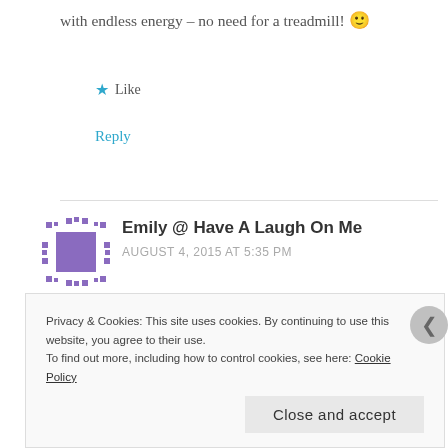with endless energy – no need for a treadmill! 🙂
★ Like
Reply
Emily @ Have A Laugh On Me
AUGUST 4, 2015 AT 5:35 PM
So true – and they also are tough on your mental state of mind – I don't miss toddlers, i do miss their
Privacy & Cookies: This site uses cookies. By continuing to use this website, you agree to their use.
To find out more, including how to control cookies, see here: Cookie Policy
Close and accept